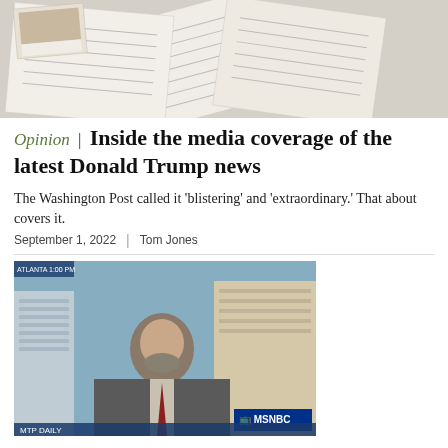[Figure (photo): Scattered documents/papers viewed from above, appearing to be legal or government documents]
Opinion | Inside the media coverage of the latest Donald Trump news
The Washington Post called it 'blistering' and 'extraordinary.' That about covers it.
September 1, 2022  |  Tom Jones
[Figure (photo): Man in suit with beard speaking on MSNBC television broadcast, city skyline visible in background. MSNBC logo visible in lower right corner.]